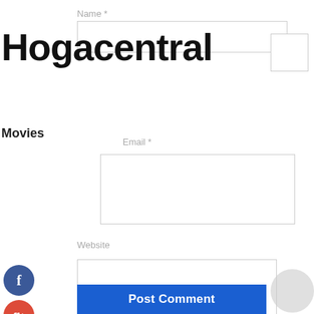Name *
Hogacentral
Movies
Email *
Website
Save my name, email, and website in this browser for the next time I comment.
Post Comment